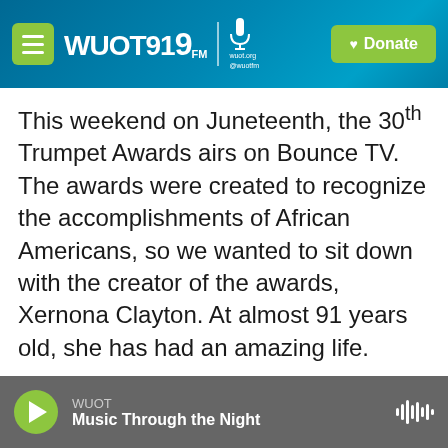[Figure (screenshot): WUOT 91.9 FM radio station header logo with menu button, microphone icon, wuot.org URL, and green Donate button on teal/blue gradient background]
This weekend on Juneteenth, the 30th Trumpet Awards airs on Bounce TV. The awards were created to recognize the accomplishments of African Americans, so we wanted to sit down with the creator of the awards, Xernona Clayton. At almost 91 years old, she has had an amazing life. She's been a broadcaster, a broadcast executive, an entrepreneur and, most notably, a civil rights icon. She was a confidante to Martin Luther King Jr., and her deep belief that Black and white people could learn to get along persuaded her to get to know - really get to know - a Grand Dragon of the Ku
WUOT  Music Through the Night